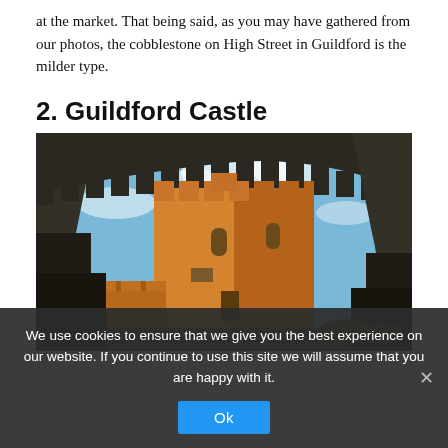at the market. That being said, as you may have gathered from our photos, the cobblestone on High Street in Guildford is the milder type.
2. Guildford Castle
[Figure (photo): Photo of Guildford Castle keep viewed through a stone archway, showing a large square Norman tower of orange-brown stone against a blue sky with scattered clouds, with ruined stone walls in the foreground and sides.]
We use cookies to ensure that we give you the best experience on our website. If you continue to use this site we will assume that you are happy with it.